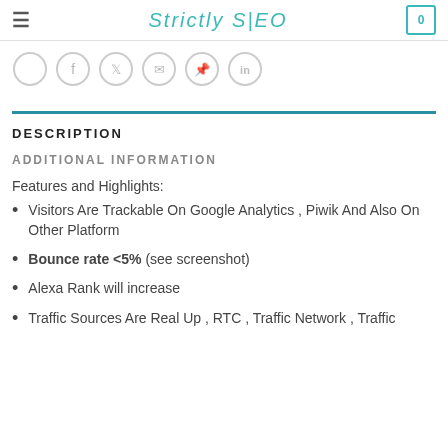Strictly SEO  0
[Figure (illustration): Row of social media share icons in circles: blank/share, Facebook, Twitter, Email, Pinterest, LinkedIn]
DESCRIPTION
ADDITIONAL INFORMATION
Features and Highlights:
Visitors Are Trackable On Google Analytics , Piwik And Also On Other Platform
Bounce rate <5% (see screenshot)
Alexa Rank will increase
Traffic Sources Are Real Up , RTC , Traffic Network , Traffic